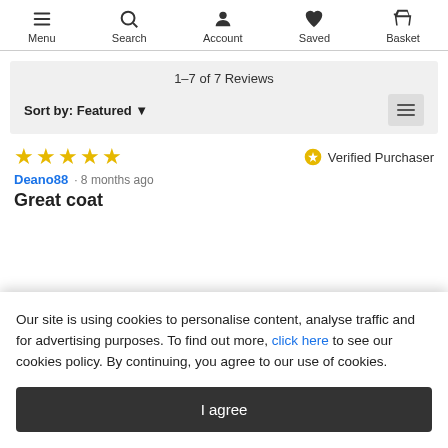Menu | Search | Account | Saved | Basket
1–7 of 7 Reviews
Sort by: Featured
★★★★★  Verified Purchaser
Deano88 · 8 months ago
Great coat
Our site is using cookies to personalise content, analyse traffic and for advertising purposes. To find out more, click here to see our cookies policy. By continuing, you agree to our use of cookies.
I agree